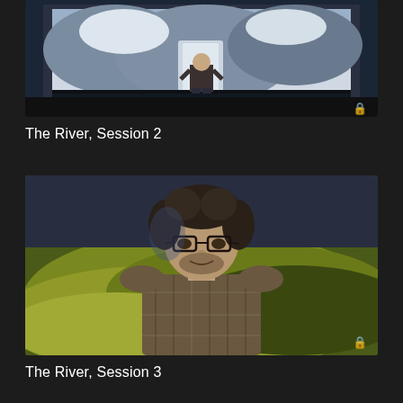[Figure (screenshot): Video thumbnail showing a person standing in front of a large display screen with a snowy mountain/waterfall scene. Dark stage setting. Lock icon in bottom-right corner.]
The River, Session 2
[Figure (screenshot): Video thumbnail showing a man with glasses and curly hair wearing a plaid shirt, photographed against a blurred green and yellow background. Lock icon in bottom-right corner.]
The River, Session 3